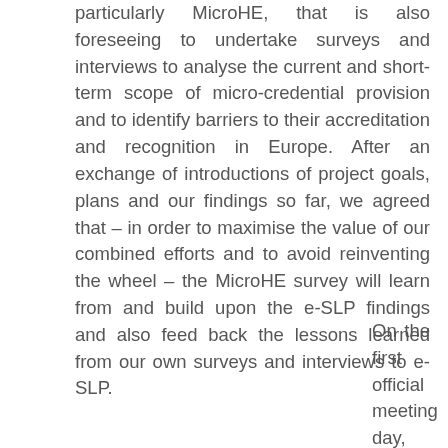particularly MicroHE, that is also foreseeing to undertake surveys and interviews to analyse the current and short-term scope of micro-credential provision and to identify barriers to their accreditation and recognition in Europe. After an exchange of introductions of project goals, plans and our findings so far, we agreed that – in order to maximise the value of our combined efforts and to avoid reinventing the wheel – the MicroHE survey will learn from and build upon the e-SLP findings and also feed back the lessons learned from our own surveys and interviews to e-SLP.
On the first official meeting day, instead of sitting